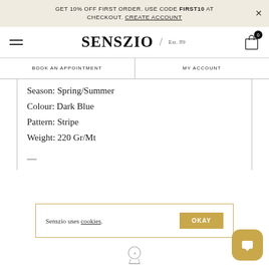GET 10% OFF FIRST ORDER. USE CODE FIRST10 AT CHECKOUT. CREATE ACCOUNT
[Figure (logo): SENSZIO / Est. 89 brand logo with hamburger menu and shopping bag icon]
BOOK AN APPOINTMENT | MY ACCOUNT
Season: Spring/Summer
Colour: Dark Blue
Pattern: Stripe
Weight: 220 Gr/Mt
—
Senszio uses cookies. OKAY